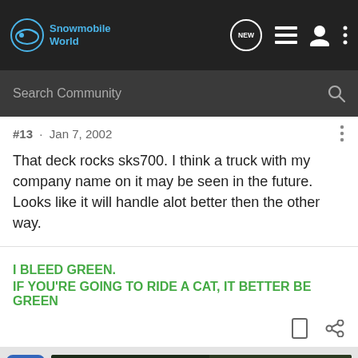Snowmobile World
#13 · Jan 7, 2002
That deck rocks sks700. I think a truck with my company name on it may be seen in the future. Looks like it will handle alot better then the other way.
I BLEED GREEN.
IF YOU'RE GOING TO RIDE A CAT, IT BETTER BE GREEN
[Figure (screenshot): Chevrolet Silverado 2022 advertisement banner with truck image, Explore button, and Chevrolet logo]